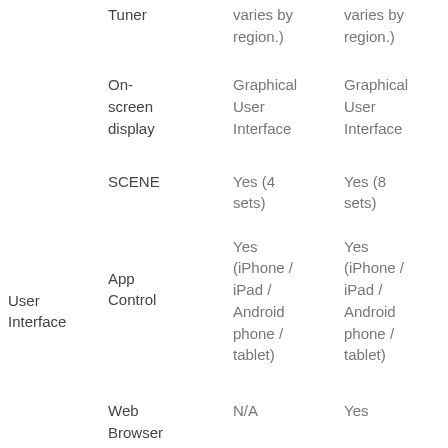|  |  |  |  |
| --- | --- | --- | --- |
|  | Tuner | varies by region.) | varies by region.) |
|  | On-screen display | Graphical User Interface | Graphical User Interface |
|  | SCENE | Yes (4 sets) | Yes (8 sets) |
| User Interface | App Control | Yes (iPhone / iPad / Android phone / tablet) | Yes (iPhone / iPad / Android phone / tablet) |
|  | Web Browser | N/A | Yes |